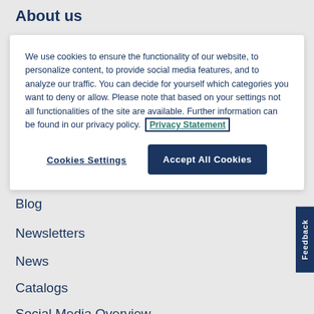About us
We use cookies to ensure the functionality of our website, to personalize content, to provide social media features, and to analyze our traffic. You can decide for yourself which categories you want to deny or allow. Please note that based on your settings not all functionalities of the site are available. Further information can be found in our privacy policy. Privacy Statement
Cookies Settings
Accept All Cookies
Blog
Newsletters
News
Catalogs
Social Media Overview
Feedback